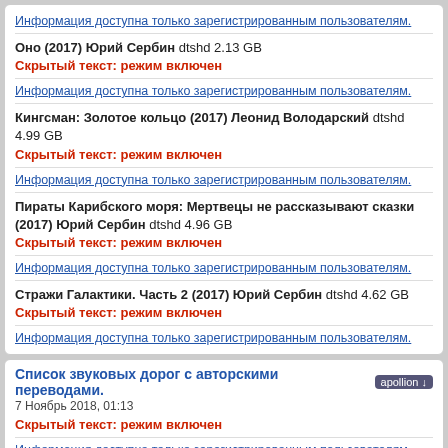Информация доступна только зарегистрированным пользователям.
Оно (2017) Юрий Сербин dtshd 2.13 GB
Скрытый текст: режим включен
Информация доступна только зарегистрированным пользователям.
Кингсман: Золотое кольцо (2017) Леонид Володарский dtshd 4.99 GB
Скрытый текст: режим включен
Информация доступна только зарегистрированным пользователям.
Пираты Карибского моря: Мертвецы не рассказывают сказки (2017) Юрий Сербин dtshd 4.96 GB
Скрытый текст: режим включен
Информация доступна только зарегистрированным пользователям.
Стражи Галактики. Часть 2 (2017) Юрий Сербин dtshd 4.62 GB
Скрытый текст: режим включен
Информация доступна только зарегистрированным пользователям.
Список звуковых дорог с авторскими переводами.
7 Ноябрь 2018, 01:13
Скрытый текст: режим включен
Информация доступна только зарегистрированным пользователям.